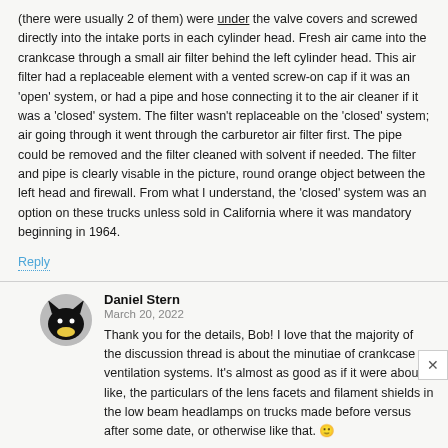(there were usually 2 of them) were under the valve covers and screwed directly into the intake ports in each cylinder head. Fresh air came into the crankcase through a small air filter behind the left cylinder head. This air filter had a replaceable element with a vented screw-on cap if it was an 'open' system, or had a pipe and hose connecting it to the air cleaner if it was a 'closed' system. The filter wasn't replaceable on the 'closed' system; air going through it went through the carburetor air filter first. The pipe could be removed and the filter cleaned with solvent if needed. The filter and pipe is clearly visable in the picture, round orange object between the left head and firewall. From what I understand, the 'closed' system was an option on these trucks unless sold in California where it was mandatory beginning in 1964.
Reply
Daniel Stern
March 20, 2022
Thank you for the details, Bob! I love that the majority of the discussion thread is about the minutiae of crankcase ventilation systems. It's almost as good as if it were about, like, the particulars of the lens facets and filament shields in the low beam headlamps on trucks made before versus after some date, or otherwise like that. 🙂
Reply
Bob B.